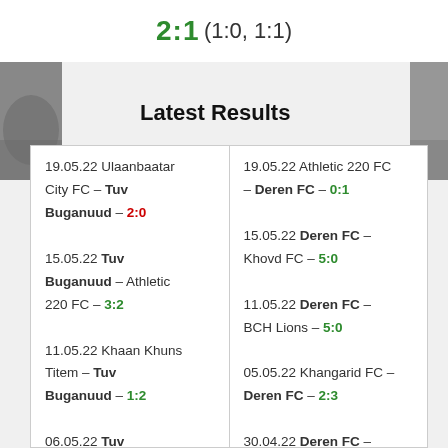2:1 (1:0, 1:1)
Latest Results
| Left Column | Right Column |
| --- | --- |
| 19.05.22 Ulaanbaatar City FC – Tuv Buganuud – 2:0 | 19.05.22 Athletic 220 FC – Deren FC – 0:1 |
| 15.05.22 Tuv Buganuud – Athletic 220 FC – 3:2 | 15.05.22 Deren FC – Khovd FC – 5:0 |
| 11.05.22 Khaan Khuns Titem – Tuv Buganuud – 1:2 | 11.05.22 Deren FC – BCH Lions – 5:0 |
| 06.05.22 Tuv Buganuud – Khovd FC | 05.05.22 Khangarid FC – Deren FC – 2:3 |
|  | 30.04.22 Deren FC – Ulaanbaatar City FC – 2:1 |